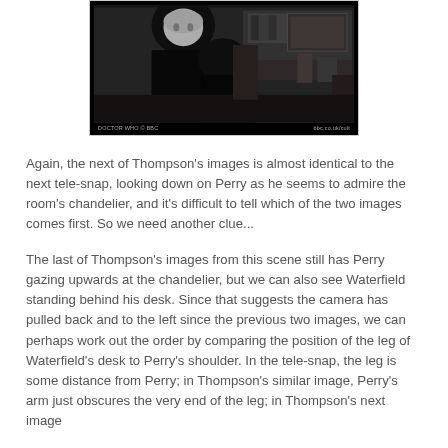[Figure (photo): Black and white still from Doctor Who (BBC), showing two figures in what appears to be a study or office room. Watermark reads 'DOCTOR WHO © BBC' on the lower left and 'bbc.co.uk/cult' on the lower right.]
Again, the next of Thompson's images is almost identical to the next tele-snap, looking down on Perry as he seems to admire the room's chandelier, and it's difficult to tell which of the two images comes first. So we need another clue...
The last of Thompson's images from this scene still has Perry gazing upwards at the chandelier, but we can also see Waterfield standing behind his desk. Since that suggests the camera has pulled back and to the left since the previous two images, we can perhaps work out the order by comparing the position of the leg of Waterfield's desk to Perry's shoulder. In the tele-snap, the leg is some distance from Perry; in Thompson's similar image, Perry's arm just obscures the very end of the leg; in Thompson's next image